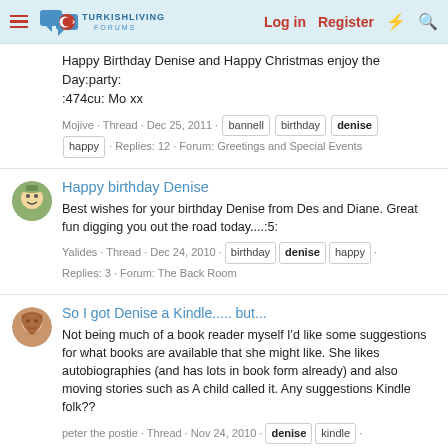TurkishLiving Forums — Log in | Register
Happy Birthday Denise and Happy Christmas enjoy the Day:party::474cu: Mo xx
Mojive · Thread · Dec 25, 2011 · bannell · birthday · denise · happy · Replies: 12 · Forum: Greetings and Special Events
Happy birthday Denise
Best wishes for your birthday Denise from Des and Diane. Great fun digging you out the road today....:5:
Yalides · Thread · Dec 24, 2010 · birthday · denise · happy · Replies: 3 · Forum: The Back Room
So I got Denise a Kindle..... but...
Not being much of a book reader myself I'd like some suggestions for what books are available that she might like. She likes autobiographies (and has lots in book form already) and also moving stories such as A child called it. Any suggestions Kindle folk??
peter the postie · Thread · Nov 24, 2010 · denise · kindle · Replies: 17 · Forum: The Cafe